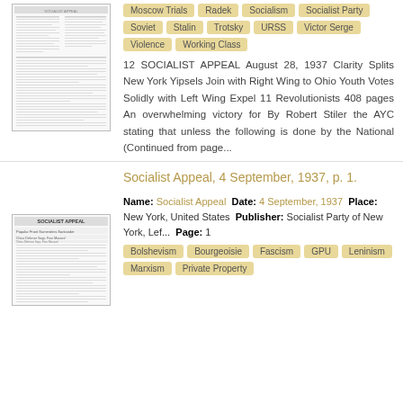[Figure (photo): Thumbnail of Socialist Appeal newspaper, August 28, 1937]
Moscow Trials  Radek  Socialism  Socialist Party  Soviet  Stalin  Trotsky  URSS  Victor Serge  Violence  Working Class
12 SOCIALIST APPEAL August 28, 1937 Clarity Splits New York Yipsels Join with Right Wing to Ohio Youth Votes Solidly with Left Wing Expel 11 Revolutionists 408 pages An overwhelming victory for By Robert Stiler the AYC stating that unless the following is done by the National (Continued from page...
Socialist Appeal, 4 September, 1937, p. 1.
[Figure (photo): Thumbnail of Socialist Appeal newspaper, 4 September 1937]
Name: Socialist Appeal  Date: 4 September, 1937  Place: New York, United States  Publisher: Socialist Party of New York, Lef...  Page: 1
Bolshevism  Bourgeoisie  Fascism  GPU  Leninism  Marxism  Private Property